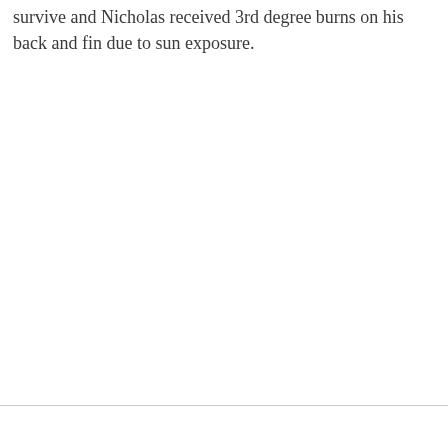survive and Nicholas received 3rd degree burns on his back and fin due to sun exposure.